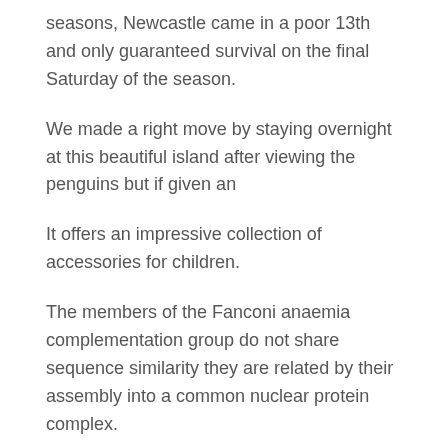seasons, Newcastle came in a poor 13th and only guaranteed survival on the final Saturday of the season.
We made a right move by staying overnight at this beautiful island after viewing the penguins but if given an
It offers an impressive collection of accessories for children.
The members of the Fanconi anaemia complementation group do not share sequence similarity they are related by their assembly into a common nuclear protein complex.
Authors may also specify persistent style sheets that user agents must apply in addition to any alternate style sheet.
The unilateral z-transform of any signal is identical to its